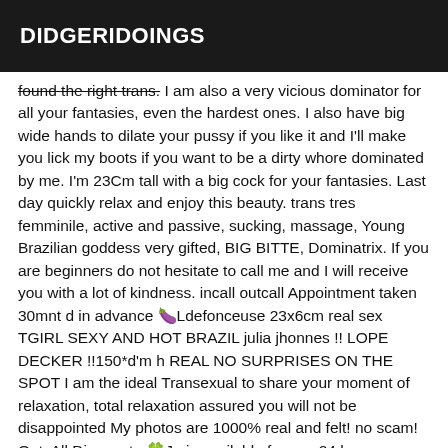DIDGERIDOINGS
found the right trans. I am also a very vicious dominator for all your fantasies, even the hardest ones. I also have big wide hands to dilate your pussy if you like it and I'll make you lick my boots if you want to be a dirty whore dominated by me. I'm 23Cm tall with a big cock for your fantasies. Last day quickly relax and enjoy this beauty. trans tres femminile, active and passive, sucking, massage, Young Brazilian goddess very gifted, BIG BITTE, Dominatrix. If you are beginners do not hesitate to call me and I will receive you with a lot of kindness. incall outcall Appointment taken 30mnt d in advance 🍆Ldefonceuse 23x6cm real sex TGIRL SEXY AND HOT BRAZIL julia jhonnes !! LOPE DECKER !!150*d'm h REAL NO SURPRISES ON THE SPOT I am the ideal Transexual to share your moment of relaxation, total relaxation assured you will not be disappointed My photos are 1000% real and felt! no scam! OutcAll Dispo mtn 🍀Je is available for you 24 hours.on weekends I'm